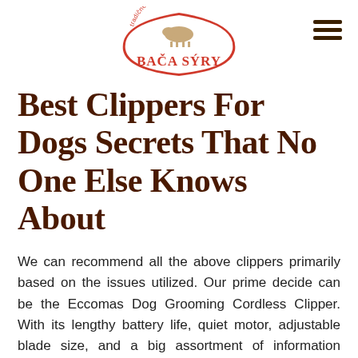[Figure (logo): Bača Sýry logo — a red and white badge with a cow illustration and the text 'BAČA SÝRY' in red letters, with Slovak text around the top arc reading 'tradičné výrobky zo salašu']
Best Clippers For Dogs Secrets That No One Else Knows About
We can recommend all the above clippers primarily based on the issues utilized. Our prime decide can be the Eccomas Dog Grooming Cordless Clipper. With its lengthy battery life, quiet motor, adjustable blade size, and a big assortment of information combs, this clipper presents good value and performance for the fee. Designed for thick and heavy coats, this set of clippers from